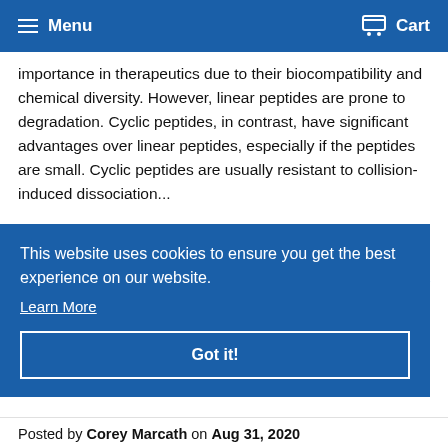Menu | Cart
importance in therapeutics due to their biocompatibility and chemical diversity. However, linear peptides are prone to degradation. Cyclic peptides, in contrast, have significant advantages over linear peptides, especially if the peptides are small. Cyclic peptides are usually resistant to collision-induced dissociation...
Tags: Animal Plasma, Innovative Grade US Origin Canine ...lasma
This website uses cookies to ensure you get the best experience on our website.
Learn More
Got it!
Posted by Corey Marcath on Aug 31, 2020